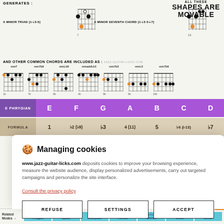GENERATES:
[Figure (illustration): A Minor Triad [1-b3-5] chord diagram with orange and black dots on guitar fretboard]
[Figure (illustration): A Minor Seventh Chord [1-b3-5-b7] chord diagram with orange and black dots on guitar fretboard]
ALL THESE SHAPES ARE MOVABLE
AND OTHER COMMON CHORDS ARE INCLUDED AS : jazz-guitar-licks.com
[Figure (illustration): 8 chord diagrams: min7, min7b9, min#b9, minadd#b3, min7b3, minb3, min7b9]
| E PHRYGIAN | E | F | G | A | B | C | D |
| --- | --- | --- | --- | --- | --- | --- | --- |
| FORMULA | 1 | b2 (b9) | b3 | 4 (11) | 5 | b6 (b13) | b7 |
| --- | --- | --- | --- | --- | --- | --- | --- |
🍪 Managing cookies
www.jazz-guitar-licks.com deposits cookies to improve your browsing experience, measure the website audience, display personalized advertisements, carry out targeted campaigns and personalize the site interface.
Consult the privacy policy
REFUSE   SETTINGS   ACCEPT
| Related Modes → | C / b13 Phrygian | D / 13th Lydian | E / 13th Mixolydian | F / b13 Aeolian | G / b13 Locrian | A / 13th Ionian | B / 13th Dorian |
| --- | --- | --- | --- | --- | --- | --- | --- |